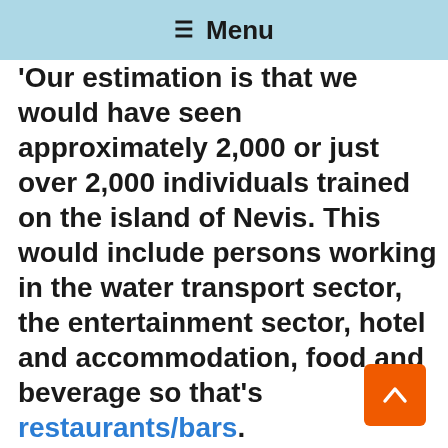☰ Menu
'Our estimation is that we would have seen approximately 2,000 or just over 2,000 individuals trained on the island of Nevis. This would include persons working in the water transport sector, the entertainment sector, hotel and accommodation, food and beverage so that's restaurants/bars.